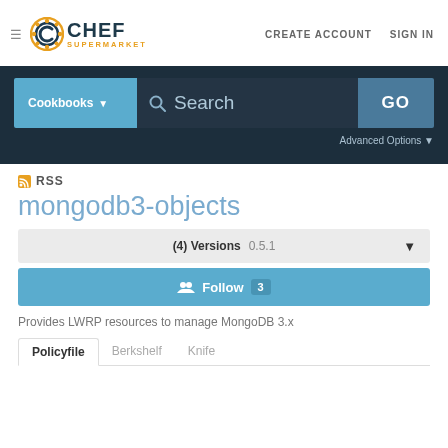[Figure (logo): Chef Supermarket logo with orange gear icon and dark blue CHEF text with orange SUPERMARKET subtext]
CREATE ACCOUNT   SIGN IN
[Figure (screenshot): Search bar with Cookbooks dropdown, Search input field, and GO button on dark blue background, with Advanced Options link]
RSS
mongodb3-objects
(4) Versions   0.5.1
Follow  3
Provides LWRP resources to manage MongoDB 3.x
Policyfile   Berkshelf   Knife